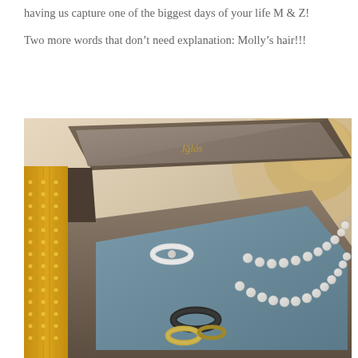having us capture one of the biggest days of your life M & Z!
Two more words that don't need explanation: Molly's hair!!!
[Figure (photo): Close-up photograph of an open brown leather jewelry box with gold logo text on the lid, containing rings and a pearl necklace on a blue velvet interior, with golden decorative items visible on the left side.]